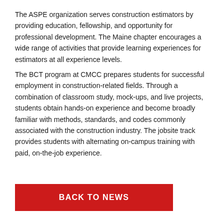The ASPE organization serves construction estimators by providing education, fellowship, and opportunity for professional development. The Maine chapter encourages a wide range of activities that provide learning experiences for estimators at all experience levels.
The BCT program at CMCC prepares students for successful employment in construction-related fields. Through a combination of classroom study, mock-ups, and live projects, students obtain hands-on experience and become broadly familiar with methods, standards, and codes commonly associated with the construction industry. The jobsite track provides students with alternating on-campus training with paid, on-the-job experience.
BACK TO NEWS